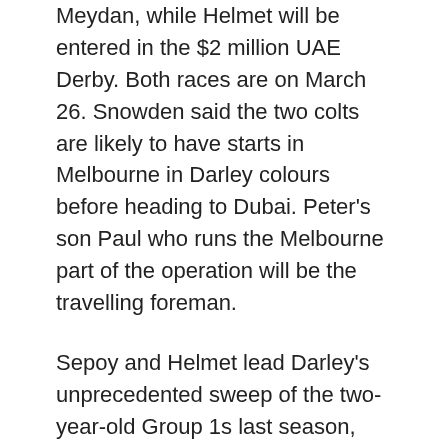Meydan, while Helmet will be entered in the $2 million UAE Derby. Both races are on March 26. Snowden said the two colts are likely to have starts in Melbourne in Darley colours before heading to Dubai. Peter's son Paul who runs the Melbourne part of the operation will be the travelling foreman.
Sepoy and Helmet lead Darley's unprecedented sweep of the two-year-old Group 1s last season, winning two each and they have trained on to win the biggest three-year-old races of the spring in Melbourne. They were both expected to leave Australia for European campaigns next year but the timing has just been moved forward. Sepoy, a son of Elusive Quality, is the highest-rated three-year-old in the Australia on a mark of 129 with Timeform. He won the Blue Diamond and Golden Slipper as a two-year-old then the best three-year-old races in the